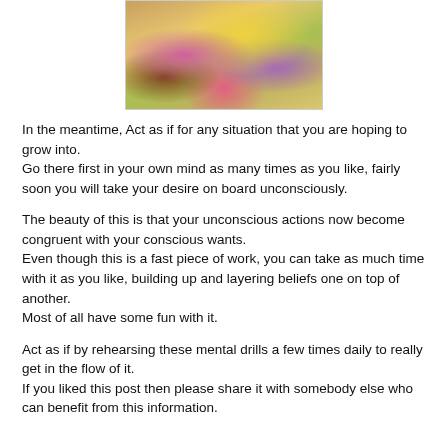[Figure (photo): Photo of people at a colorful gathering with pink and yellow clothing and flowers]
In the meantime, Act as if for any situation that you are hoping to grow into.
Go there first in your own mind as many times as you like, fairly soon you will take your desire on board unconsciously.
The beauty of this is that your unconscious actions now become congruent with your conscious wants.
Even though this is a fast piece of work, you can take as much time with it as you like, building up and layering beliefs one on top of another.
Most of all have some fun with it.
Act as if by rehearsing these mental drills a few times daily to really get in the flow of it.
If you liked this post then please share it with somebody else who can benefit from this information.